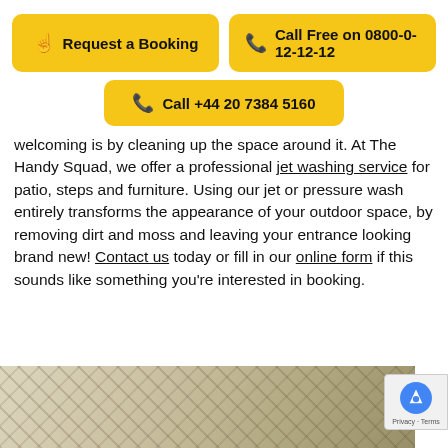[Figure (other): Yellow button: Request a Booking with hand/pointer icon]
[Figure (other): Yellow button: Call Free on 0800-0-12-12-12 with phone icon]
[Figure (other): Yellow button: Call +44 20 7384 5160 with phone icon]
welcoming is by cleaning up the space around it. At The Handy Squad, we offer a professional jet washing service for patio, steps and furniture. Using our jet or pressure wash entirely transforms the appearance of your outdoor space, by removing dirt and moss and leaving your entrance looking brand new! Contact us today or fill in our online form if this sounds like something you're interested in booking.
[Figure (photo): Close-up photo of woven outdoor furniture fabric/cushion with plaid pattern in beige and dark tones]